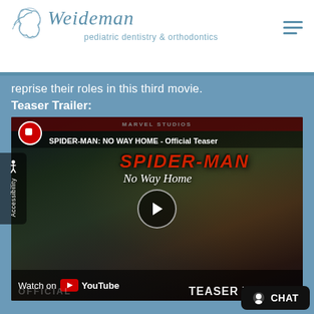[Figure (logo): Weideman Pediatric Dentistry & Orthodontics logo with seahorse design, teal/blue color scheme]
reprise their roles in this third movie.
Teaser Trailer:
[Figure (screenshot): YouTube video thumbnail for SPIDER-MAN: NO WAY HOME - Official Teaser Trailer, showing Doctor Strange and Spider-Man in a street scene, with play button, Watch on YouTube label, and TEASER TRAILER text at bottom]
CHAT